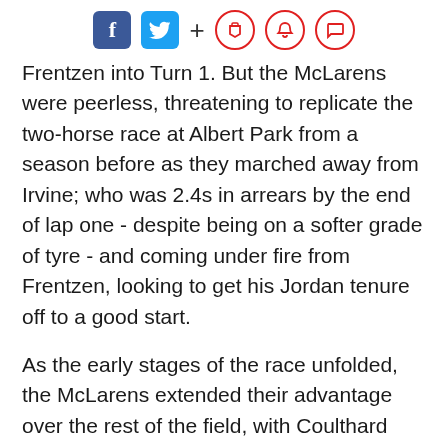Social media icons: Facebook, Twitter, +, bookmark, notification, comment
Frentzen into Turn 1. But the McLarens were peerless, threatening to replicate the two-horse race at Albert Park from a season before as they marched away from Irvine; who was 2.4s in arrears by the end of lap one - despite being on a softer grade of tyre - and coming under fire from Frentzen, looking to get his Jordan tenure off to a good start.
As the early stages of the race unfolded, the McLarens extended their advantage over the rest of the field, with Coulthard harrying Hakkinen.
[Figure (other): Advertisement placeholder box (grey rectangle)]